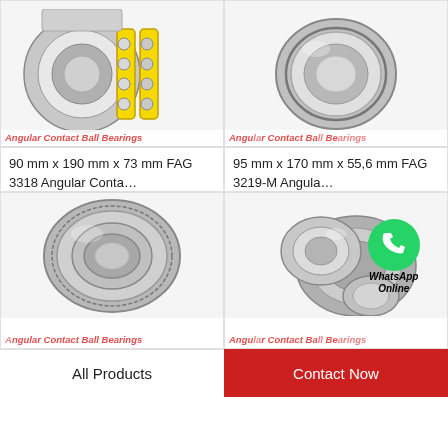[Figure (photo): Angular contact ball bearing with yellow cage components, product image top-left]
Angular Contact Ball Bearings
90 mm x 190 mm x 73 mm FAG 3318 Angular Conta…
[Figure (photo): Angular contact ball bearing, product image top-right]
Angular Contact Ball Bearings
95 mm x 170 mm x 55,6 mm FAG 3219-M Angula…
[Figure (photo): Angular contact ball bearing shield type, product image bottom-left]
Angular Contact Ball Bearings
[Figure (photo): Multiple angular contact ball bearings with WhatsApp Online overlay, bottom-right]
Angular Contact Ball Bearings
All Products
Contact Now